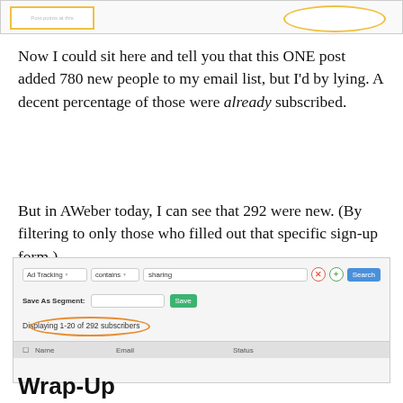[Figure (screenshot): Partial screenshot showing a cropped AWeber or similar interface at the top of the page, with a highlighted box on the left and an oval outline on the right]
Now I could sit here and tell you that this ONE post added 780 new people to my email list, but I'd by lying. A decent percentage of those were already subscribed.
But in AWeber today, I can see that 292 were new. (By filtering to only those who filled out that specific sign-up form.)
[Figure (screenshot): Screenshot of AWeber subscriber search interface showing 'Ad Tracking contains sharing' filter, Save As Segment field, and 'Displaying 1-20 of 292 subscribers' with the 292 number circled in orange. Table header shows Name, Email, Status columns.]
Wrap-Up